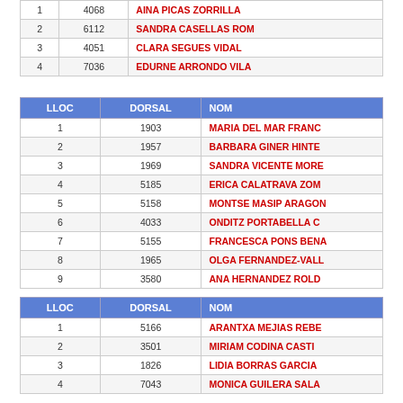| LLOC | DORSAL | NOM |
| --- | --- | --- |
| 1 | 4068 | AINA PICAS ZORRILLA |
| 2 | 6112 | SANDRA CASELLAS ROM |
| 3 | 4051 | CLARA SEGUES VIDAL |
| 4 | 7036 | EDURNE ARRONDO VILA |
| LLOC | DORSAL | NOM |
| --- | --- | --- |
| 1 | 1903 | MARIA DEL MAR FRANC |
| 2 | 1957 | BARBARA GINER HINTE |
| 3 | 1969 | SANDRA VICENTE MORE |
| 4 | 5185 | ERICA CALATRAVA ZOM |
| 5 | 5158 | MONTSE MASIP ARAGON |
| 6 | 4033 | ONDITZ PORTABELLA C |
| 7 | 5155 | FRANCESCA PONS BENA |
| 8 | 1965 | OLGA FERNANDEZ-VALL |
| 9 | 3580 | ANA HERNANDEZ ROLD |
| LLOC | DORSAL | NOM |
| --- | --- | --- |
| 1 | 5166 | ARANTXA MEJIAS REBE |
| 2 | 3501 | MIRIAM CODINA CASTI |
| 3 | 1826 | LIDIA BORRAS GARCIA |
| 4 | 7043 | MONICA GUILERA SALA |